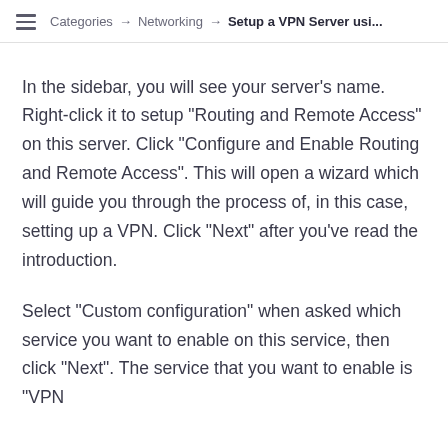≡  Categories → Networking → Setup a VPN Server usi...
In the sidebar, you will see your server's name. Right-click it to setup "Routing and Remote Access" on this server. Click "Configure and Enable Routing and Remote Access". This will open a wizard which will guide you through the process of, in this case, setting up a VPN. Click "Next" after you've read the introduction.
Select "Custom configuration" when asked which service you want to enable on this service, then click "Next". The service that you want to enable is "VPN